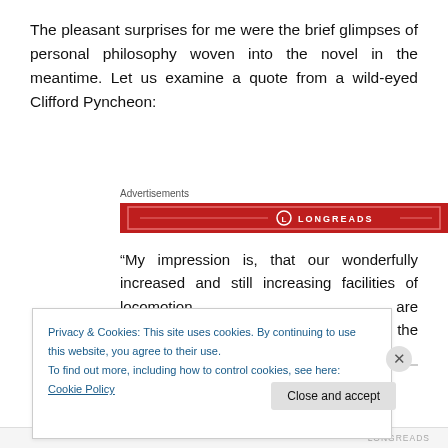The pleasant surprises for me were the brief glimpses of personal philosophy woven into the novel in the meantime. Let us examine a quote from a wild-eyed Clifford Pyncheon:
[Figure (other): Longreads advertisement banner with red background and white logo text 'LONGREADS']
“My impression is, that our wonderfully increased and still increasing facilities of locomotion are destined to bring us round again to the nomadic
Privacy & Cookies: This site uses cookies. By continuing to use this website, you agree to their use.
To find out more, including how to control cookies, see here: Cookie Policy
LONGREADS